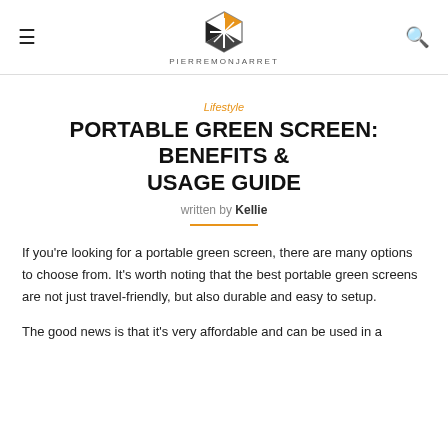PIERREMONJARRET
Lifestyle
PORTABLE GREEN SCREEN: BENEFITS & USAGE GUIDE
written by Kellie
If you're looking for a portable green screen, there are many options to choose from. It's worth noting that the best portable green screens are not just travel-friendly, but also durable and easy to setup.
The good news is that it's very affordable and can be used in a